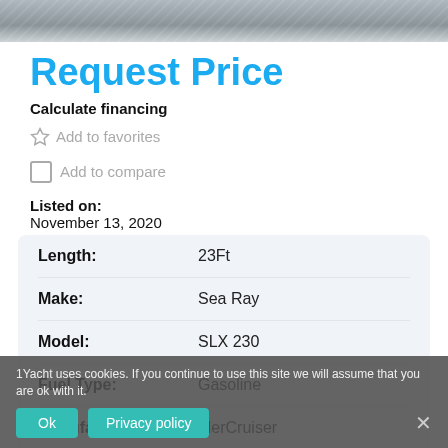[Figure (photo): Partial photo strip at top of page showing water/boat scene in grayscale]
Request Price
Calculate financing
Add to favorites
Add to compare
Listed on: November 13, 2020
| Attribute | Value |
| --- | --- |
| Length: | 23Ft |
| Make: | Sea Ray |
| Model: | SLX 230 |
| Fuel Type: | Gasoline |
| Manufacturer: | MerCruiser |
| Yacht Certified: | No |
1Yacht uses cookies. If you continue to use this site we will assume that you are ok with it.